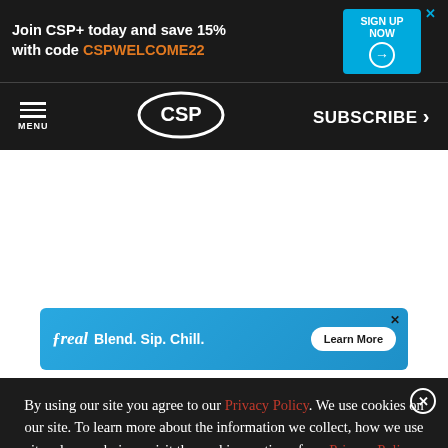[Figure (screenshot): Top advertisement banner: 'Join CSP+ today and save 15% with code CSPWELCOME22' with Sign Up Now button]
[Figure (screenshot): Navigation bar with hamburger menu icon and MENU label, CSP logo in oval, and SUBSCRIBE > button]
[Figure (screenshot): White space content area]
[Figure (screenshot): freal advertisement: 'Blend. Sip. Chill.' with Learn More button and product images]
By using our site you agree to our Privacy Policy. We use cookies on our site. To learn more about the information we collect, how we use it and your choices, visit the cookies section of our Privacy Policy.